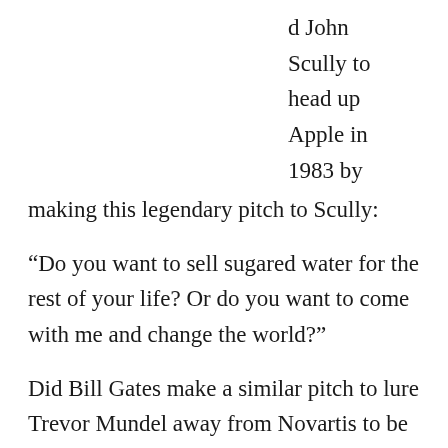d John Scully to head up Apple in 1983 by making this legendary pitch to Scully:
“Do you want to sell sugared water for the rest of your life? Or do you want to come with me and change the world?”
Did Bill Gates make a similar pitch to lure Trevor Mundel away from Novartis to be President of Global Health at the Bill and Melinda Gates Foundation?